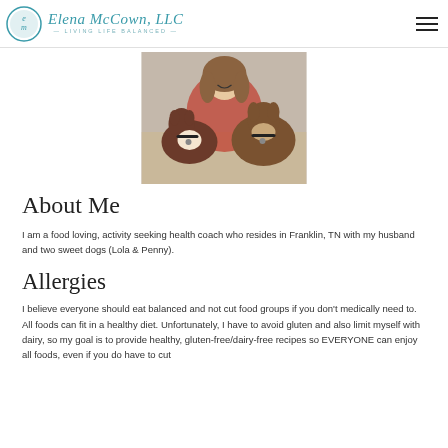Elena McCown, LLC — Living Life Balanced
[Figure (photo): Photo of a smiling woman with two brown and white dogs on a couch]
About Me
I am a food loving, activity seeking health coach who resides in Franklin, TN with my husband and two sweet dogs (Lola & Penny).
Allergies
I believe everyone should eat balanced and not cut food groups if you don't medically need to. All foods can fit in a healthy diet. Unfortunately, I have to avoid gluten and also limit myself with dairy, so my goal is to provide healthy, gluten-free/dairy-free recipes so EVERYONE can enjoy all foods, even if you do have to cut